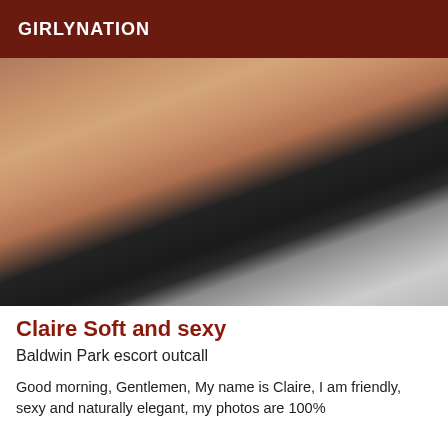GIRLYNATION
[Figure (photo): Cropped photo of a woman's torso wearing a black bikini bottom and an open grey cardigan, seated on a dark leather surface]
Claire Soft and sexy
Baldwin Park escort outcall
Good morning, Gentlemen, My name is Claire, I am friendly, sexy and naturally elegant, my photos are 100%